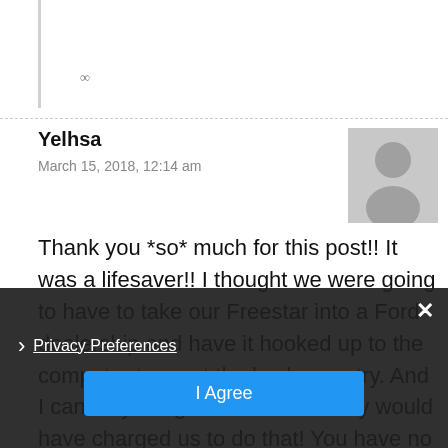∞
Yelhsa
March 15, 2018, 12:14 am
[Figure (illustration): Generic user avatar silhouette on gray background]
Thank you *so* much for this post!! It was a lifesaver!! I thought we were going to have to take our Freestar into a Ford dealership and have it hooked up to the computer to reset the keyless entry. And I can only imagine how much they would have charged us to do that! You have no clue how grateful I am you made this post and I found it. You saved us lots of hassle, time and money!! Now.....if only the Freestar had an aux jack and I
Privacy Preferences  I Agree